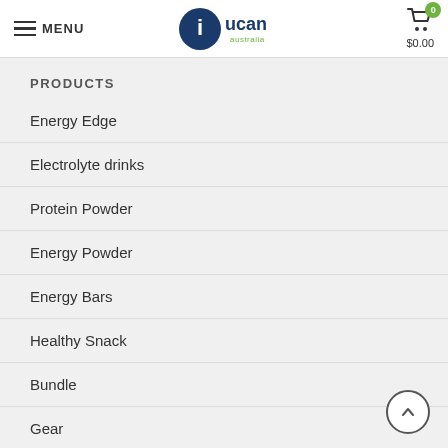MENU | UCAN Australia | $0.00
PRODUCTS
Energy Edge
Electrolyte drinks
Protein Powder
Energy Powder
Energy Bars
Healthy Snack
Bundle
Gear